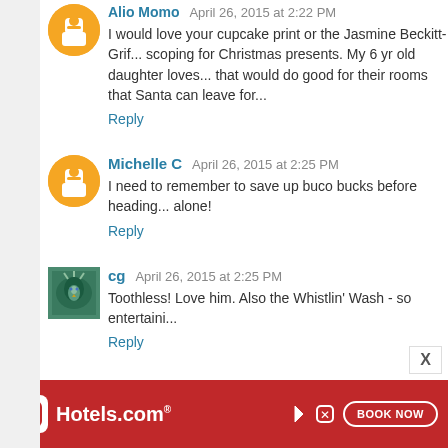I would love your cupcake print or the Jasmine Beckitt-Grif... scoping for Christmas presents. My 6 yr old daughter loves... that would do good for their rooms that Santa can leave for...
Reply
Michelle C April 26, 2015 at 2:25 PM
I need to remember to save up buco bucks before heading... alone!
Reply
cg April 26, 2015 at 2:25 PM
Toothless! Love him. Also the Whistlin' Wash - so entertaini...
Reply
Anonymous April 26, 2015 at 2:27 PM
I LOVE LOVE LOVE the Wash/Firefly Silly Symphonies! M... I've been trying to win it for a while..maybe this time..l...
Reply
[Figure (screenshot): Hotels.com advertisement banner with red background, Hotels.com logo, and BOOK NOW button]